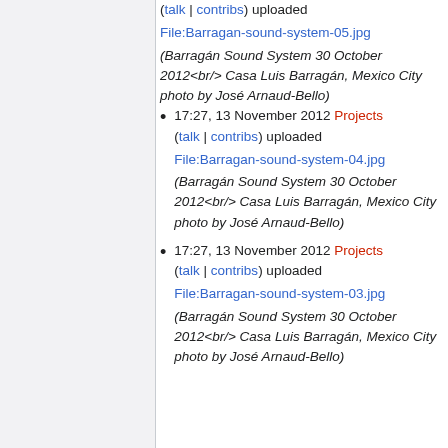(talk | contribs) uploaded File:Barragan-sound-system-05.jpg (Barragán Sound System 30 October 2012<br/> Casa Luis Barragán, Mexico City photo by José Arnaud-Bello)
17:27, 13 November 2012 Projects (talk | contribs) uploaded File:Barragan-sound-system-04.jpg (Barragán Sound System 30 October 2012<br/> Casa Luis Barragán, Mexico City photo by José Arnaud-Bello)
17:27, 13 November 2012 Projects (talk | contribs) uploaded File:Barragan-sound-system-03.jpg (Barragán Sound System 30 October 2012<br/> Casa Luis Barragán, Mexico City photo by José Arnaud-Bello)